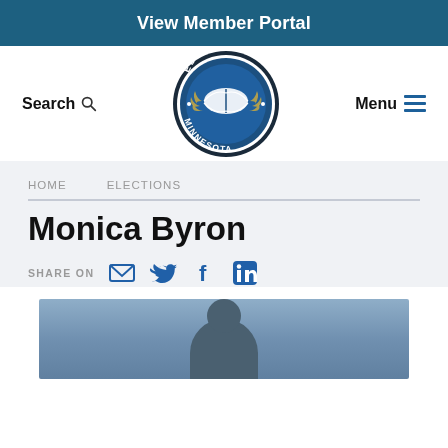View Member Portal
[Figure (logo): Education Minnesota circular logo with open book and wreath]
Search
Menu
HOME   ELECTIONS
Monica Byron
SHARE ON
[Figure (photo): Portrait photo of Monica Byron, partially visible at bottom of page]